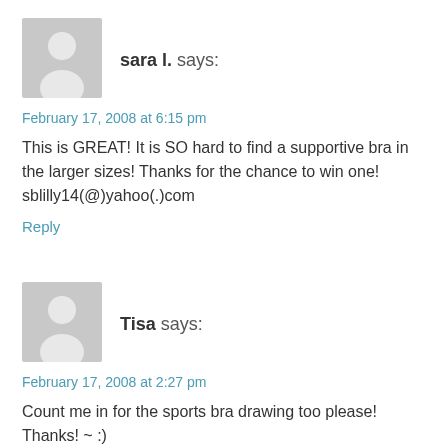[Figure (illustration): Gray placeholder avatar icon showing a silhouette of a person]
sara l. says:
February 17, 2008 at 6:15 pm
This is GREAT! It is SO hard to find a supportive bra in the larger sizes! Thanks for the chance to win one! sblilly14(@)yahoo(.)com
Reply
[Figure (illustration): Gray placeholder avatar icon showing a silhouette of a person]
Tisa says:
February 17, 2008 at 2:27 pm
Count me in for the sports bra drawing too please! Thanks! ~ :)